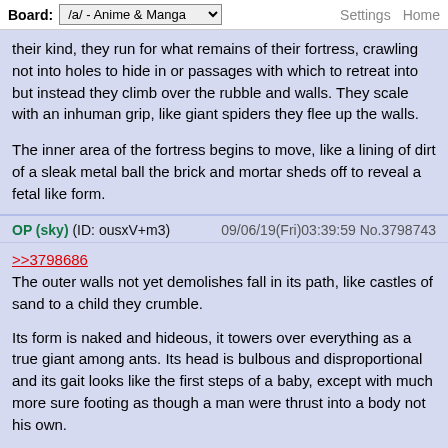Board: /a/ - Anime & Manga  Settings  Home
their kind, they run for what remains of their fortress, crawling not into holes to hide in or passages with which to retreat into but instead they climb over the rubble and walls. They scale with an inhuman grip, like giant spiders they flee up the walls.

The inner area of the fortress begins to move, like a lining of dirt of a sleak metal ball the brick and mortar sheds off to reveal a fetal like form.
OP (sky) (ID: ousxV+m3)  09/06/19(Fri)03:39:59 No.3798743
>>3798686
The outer walls not yet demolishes fall in its path, like castles of sand to a child they crumble.

Its form is naked and hideous, it towers over everything as a true giant among ants. Its head is bulbous and disproportional and its gait looks like the first steps of a baby, except with much more sure footing as though a man were thrust into a body not his own.

In the inner sanctum the leader and his men are facing their greatest challenge yet, that being trying to stay standing amidst the unpredictable movements of the beast along with the few faceless which have wandered into the room.

The heart now beats with a fast and hard pace, and the room is